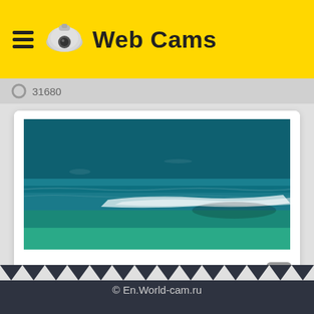Web Cams
31680
[Figure (photo): Webcam view of ocean waves with turquoise-blue water and white foam wake]
★★★★☆  31680  💬 0
© En.World-cam.ru